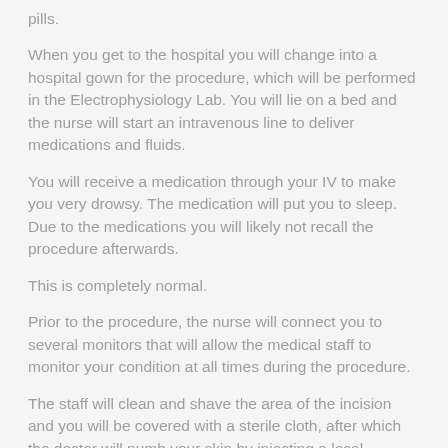pills.
When you get to the hospital you will change into a hospital gown for the procedure, which will be performed in the Electrophysiology Lab. You will lie on a bed and the nurse will start an intravenous line to deliver medications and fluids.
You will receive a medication through your IV to make you very drowsy. The medication will put you to sleep. Due to the medications you will likely not recall the procedure afterwards.
This is completely normal.
Prior to the procedure, the nurse will connect you to several monitors that will allow the medical staff to monitor your condition at all times during the procedure.
The staff will clean and shave the area of the incision and you will be covered with a sterile cloth, after which the doctor will numb your skin by injecting a local anesthetic in the shoulder area. You may feel a slight pinching or burning feeling at first and then the area will become numb.
After...